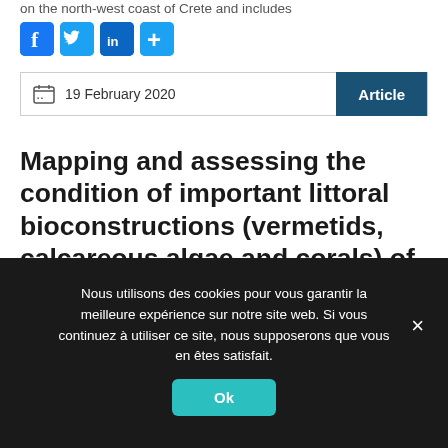on the north-west coast of Crete and includes
[Figure (other): Social media share icons: Facebook (blue), Twitter (blue bird), LinkedIn (blue), plus/share (light blue)]
19 February 2020   Article
Mapping and assessing the condition of important littoral bioconstructions (vermetids, calcareous algae and corals) of the MPA Cape Greco, Cyprus
B...i...d... A B...i...i...i...i...i...t... d...l...l...
Nous utilisons des cookies pour vous garantir la meilleure expérience sur notre site web. Si vous continuez à utiliser ce site, nous supposerons que vous en êtes satisfait.